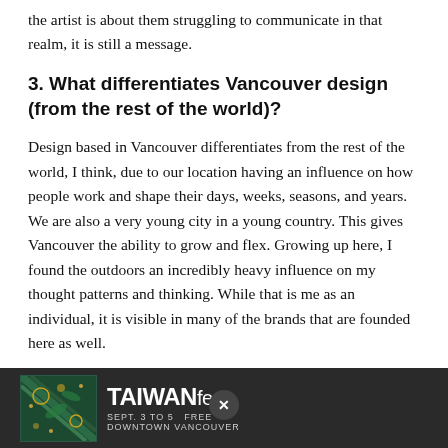the artist is about them struggling to communicate in that realm, it is still a message.
3. What differentiates Vancouver design (from the rest of the world)?
Design based in Vancouver differentiates from the rest of the world, I think, due to our location having an influence on how people work and shape their days, weeks, seasons, and years. We are also a very young city in a young country. This gives Vancouver the ability to grow and flex. Growing up here, I found the outdoors an incredibly heavy influence on my thought patterns and thinking. While that is me as an individual, it is visible in many of the brands that are founded here as well.
4. What impact is (Vancouver) design having?
[Figure (other): TAIWANfest advertisement banner: SEPT. 3 TO 5 FREE DOWNTOWN VANCOUVER, dark teal/green background with decorative motifs]